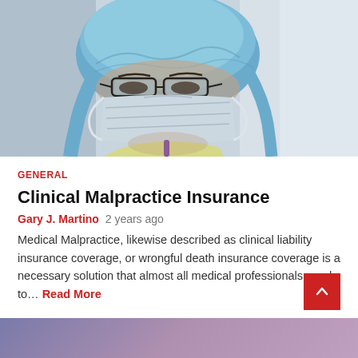[Figure (photo): Medical professional wearing blue surgical cap, protective glasses, and white face mask, with yellow protective gown visible at bottom]
GENERAL
Clinical Malpractice Insurance
Gary J. Martino  2 years ago
Medical Malpractice, likewise described as clinical liability insurance coverage, or wrongful death insurance coverage is a necessary solution that almost all medical professionals need to... Read More